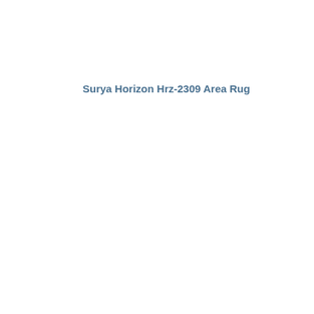Surya Horizon Hrz-2309 Area Rug